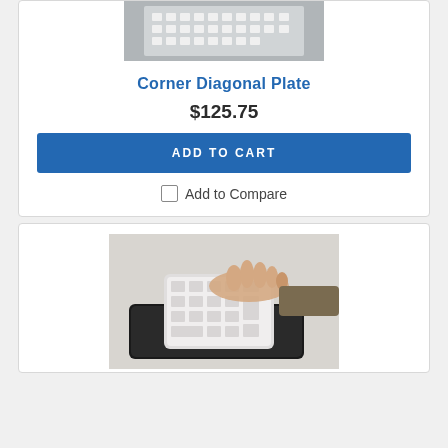[Figure (photo): Close-up photo of a keyboard/numeric keypad device, partially cropped at top]
Corner Diagonal Plate
$125.75
ADD TO CART
Add to Compare
[Figure (photo): Photo of a person's hands typing on a numeric keypad placed on a black foam wrist rest on a desk]